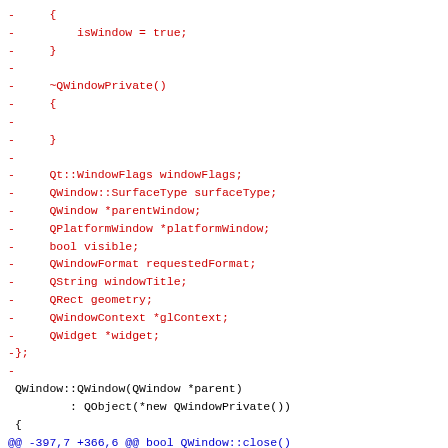[Figure (other): A unified diff / code patch snippet showing removed lines (in red, prefixed with '-') and diff hunk headers (in blue). The code is C++ Qt source related to QWindowPrivate and QWindow class methods.]